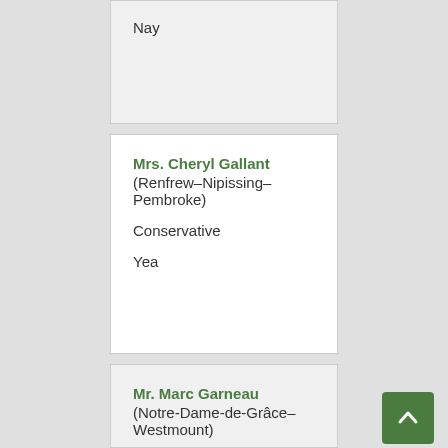Nay
Mrs. Cheryl Gallant
(Renfrew–Nipissing–Pembroke)
Conservative
Yea
Mr. Marc Garneau
(Notre-Dame-de-Grâce–Westmount)
Liberal
Nay